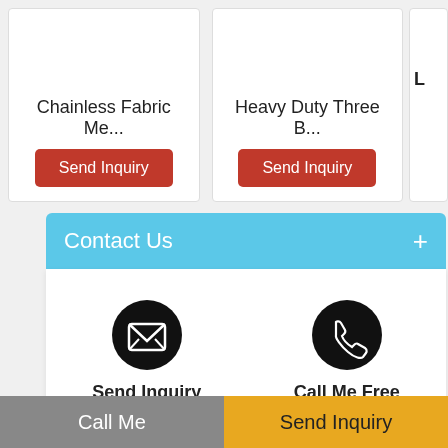Chainless Fabric Me...
Send Inquiry
Heavy Duty Three B...
Send Inquiry
L
Contact Us +
Send Inquiry
Call Me Free
Home   Product   Company Profile   Site Map
PRABHAT TEXTILE CORPORATION
All Rights Reserved.(Terms of Use)
Developed and Managed by Infocom Network Private Limited.
Go to Desktop
Call Me
Send Inquiry